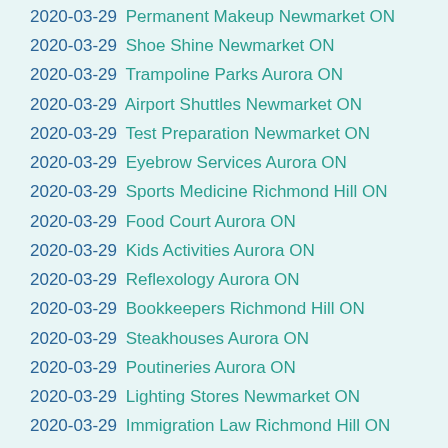2020-03-29 Permanent Makeup Newmarket ON
2020-03-29 Shoe Shine Newmarket ON
2020-03-29 Trampoline Parks Aurora ON
2020-03-29 Airport Shuttles Newmarket ON
2020-03-29 Test Preparation Newmarket ON
2020-03-29 Eyebrow Services Aurora ON
2020-03-29 Sports Medicine Richmond Hill ON
2020-03-29 Food Court Aurora ON
2020-03-29 Kids Activities Aurora ON
2020-03-29 Reflexology Aurora ON
2020-03-29 Bookkeepers Richmond Hill ON
2020-03-29 Steakhouses Aurora ON
2020-03-29 Poutineries Aurora ON
2020-03-29 Lighting Stores Newmarket ON
2020-03-29 Immigration Law Richmond Hill ON
2020-03-29 Gutter Services Aurora ON
2020-03-29 Seafood Markets Richmond Hill ON
2020-03-29 Sandwiches Richmond Hill ON
2020-03-29 Masonry/Concrete Aurora ON
2020-03-29 Mattresses Aurora ON
2020-03-29 Trailer Rental Aurora ON
2020-03-29 Employment Law Aurora ON